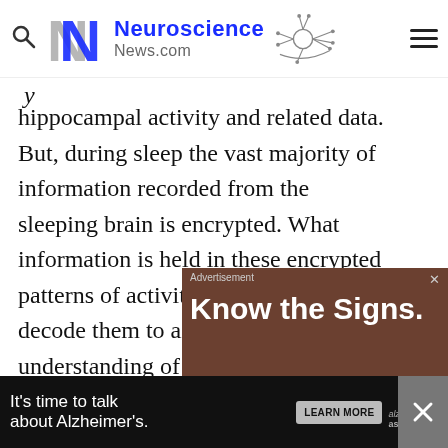Neuroscience News.com
hippocampal activity and related data. But, during sleep the vast majority of information recorded from the sleeping brain is encrypted. What information is held in these encrypted patterns of activity and how do we decode them to aid in our understanding of memory formation when the animal is awake?
[Figure (screenshot): Advertisement banner showing 'Know the Signs.' text over a dark brick background with Alzheimer's association branding]
[Figure (screenshot): Bottom banner advertisement: 'It's time to talk about Alzheimer's.' with a LEARN MORE button and Alzheimer's association logo]